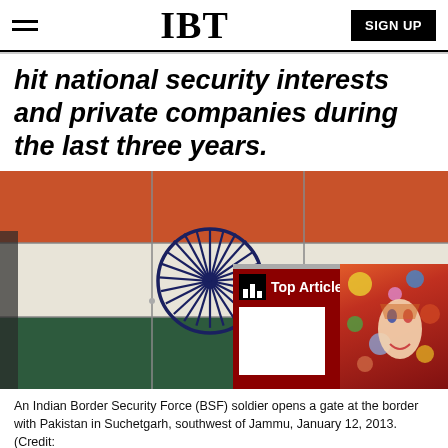IBT
hit national security interests and private companies during the last three years.
[Figure (photo): An Indian flag with the Ashoka Chakra (navy blue wheel) painted on tiles at a border gate, with an overlay popup showing 'Top Articles' widget and a David Bowie Ziggy Stardust-style face on a colorful background.]
An Indian Border Security Force (BSF) soldier opens a gate at the border with Pakistan in Suchetgarh, southwest of Jammu, January 12, 2013. (Credit: